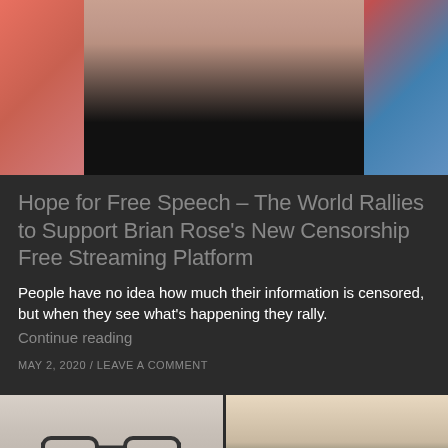[Figure (photo): Close-up photo of a man's face in front of a colorful graffiti wall. Man wears a black shirt.]
Hope for Free Speech – The World Rallies to Support Brian Rose's New Censorship Free Streaming Platform
People have no idea how much their information is censored, but when they see what's happening they rally.
Continue reading
MAY 2, 2020 / LEAVE A COMMENT
[Figure (photo): Split image showing two people side by side: on the left a man wearing glasses, on the right a woman with short hair.]